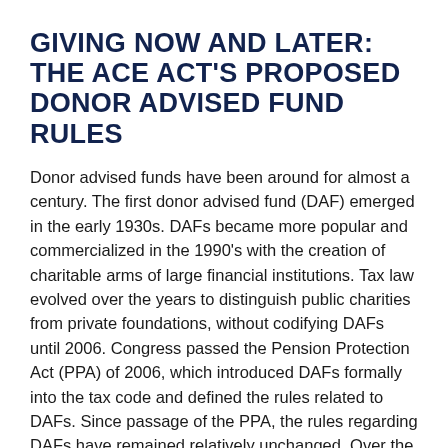GIVING NOW AND LATER: THE ACE ACT'S PROPOSED DONOR ADVISED FUND RULES
Donor advised funds have been around for almost a century. The first donor advised fund (DAF) emerged in the early 1930s. DAFs became more popular and commercialized in the 1990's with the creation of charitable arms of large financial institutions. Tax law evolved over the years to distinguish public charities from private foundations, without codifying DAFs until 2006. Congress passed the Pension Protection Act (PPA) of 2006, which introduced DAFs formally into the tax code and defined the rules related to DAFs. Since passage of the PPA, the rules regarding DAFs have remained relatively unchanged. Over the years, there have been calls to regulate and reform DAFs